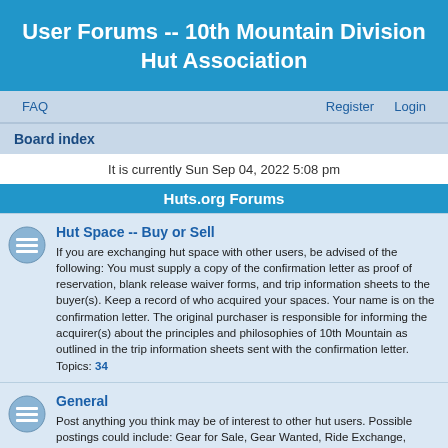User Forums -- 10th Mountain Division Hut Association
FAQ  Register  Login
Board index
It is currently Sun Sep 04, 2022 5:08 pm
Huts.org Forums
Hut Space -- Buy or Sell
If you are exchanging hut space with other users, be advised of the following: You must supply a copy of the confirmation letter as proof of reservation, blank release waiver forms, and trip information sheets to the buyer(s). Keep a record of who acquired your spaces. Your name is on the confirmation letter. The original purchaser is responsible for informing the acquirer(s) about the principles and philosophies of 10th Mountain as outlined in the trip information sheets sent with the confirmation letter. Topics: 34
General
Post anything you think may be of interest to other hut users. Possible postings could include: Gear for Sale, Gear Wanted, Ride Exchange, Travel/Ski partners, Announcements about Avalanche or Backcountry Courses, Suggestions, Presentations or Slide Shows, Backcountry Tips, and Lost & Found. Please avoid profanity and heavy politcial polemics. Topics: 13
Trail & Road Conditions
Share route and backcountry conditions at the huts during both summer and